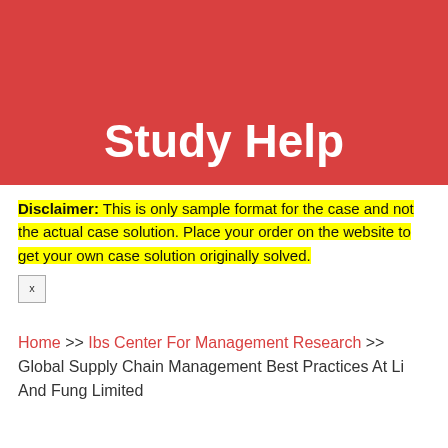Study Help
Disclaimer: This is only sample format for the case and not the actual case solution. Place your order on the website to get your own case solution originally solved.
Home >> Ibs Center For Management Research >> Global Supply Chain Management Best Practices At Li And Fung Limited